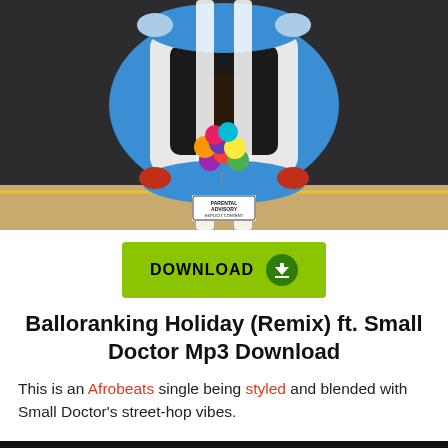[Figure (photo): Aerial/top-down view of a blue and white Mini Cooper car on a dark road with colorful balloons attached to the back, and a Parental Advisory label near the bottom of the image.]
DOWNLOAD
Balloranking Holiday (Remix) ft. Small Doctor Mp3 Download
This is an Afrobeats single being styled and blended with Small Doctor's street-hop vibes.